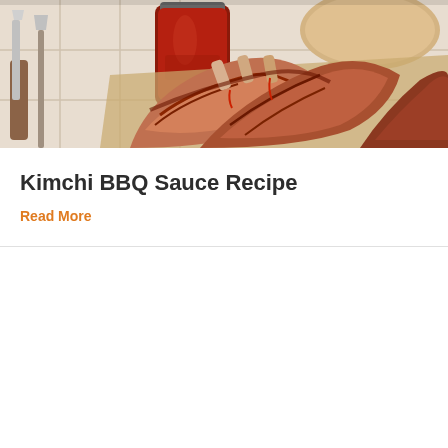[Figure (photo): BBQ ribs with red sauce in a glass jar, served on a white cloth with a knife on the left side. The ribs are glazed and appear grilled/smoked.]
Kimchi BBQ Sauce Recipe
Read More